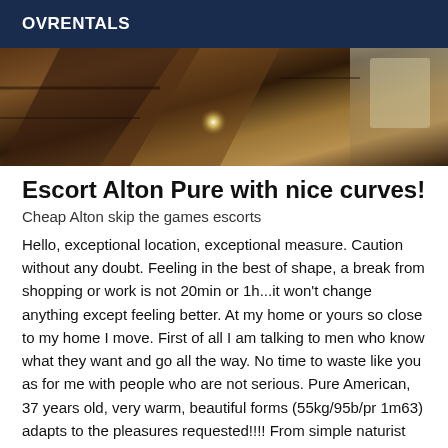OVRENTALS
[Figure (photo): Interior photo showing wooden staircase and shelving with bright light source in center]
Escort Alton Pure with nice curves!
Cheap Alton skip the games escorts
Hello, exceptional location, exceptional measure. Caution without any doubt. Feeling in the best of shape, a break from shopping or work is not 20min or 1h...it won't change anything except feeling better. At my home or yours so close to my home I move. First of all I am talking to men who know what they want and go all the way. No time to waste like you as for me with people who are not serious. Pure American, 37 years old, very warm, beautiful forms (55kg/95b/pr 1m63) adapts to the pleasures requested!!!! From simple naturist body massage / prostate massage possible / to relaxation games! In the respect and agreement of each one!